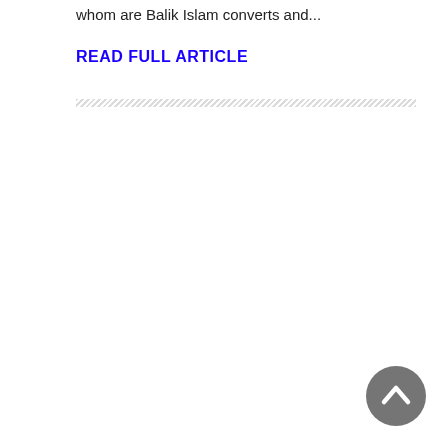whom are Balik Islam converts and...
READ FULL ARTICLE
[Figure (other): Diagonal hatching divider line]
[Figure (other): Back to top button - dark grey circle with upward chevron arrow]